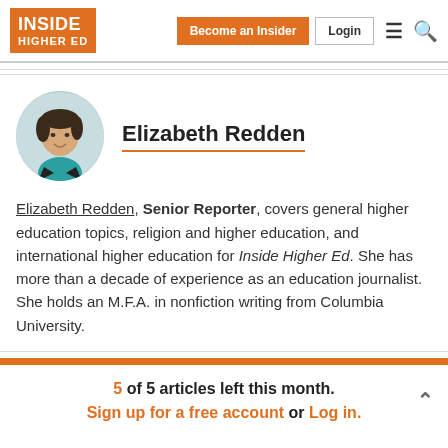Inside Higher Ed — Become an Insider | Login
[Figure (photo): Headshot photo of Elizabeth Redden, a woman with short dark hair smiling, wearing a teal top]
Elizabeth Redden
Elizabeth Redden, Senior Reporter, covers general higher education topics, religion and higher education, and international higher education for Inside Higher Ed. She has more than a decade of experience as an education journalist. She holds an M.F.A. in nonfiction writing from Columbia University.
5 of 5 articles left this month. Sign up for a free account or Log in.